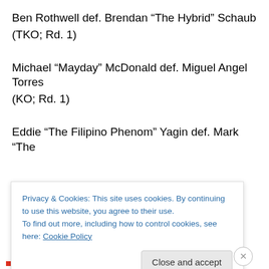Ben Rothwell def. Brendan “The Hybrid” Schaub
(TKO; Rd. 1)
Michael “Mayday” McDonald def. Miguel Angel Torres
(KO; Rd. 1)
Eddie “The Filipino Phenom” Yagin def. Mark “The
Privacy & Cookies: This site uses cookies. By continuing to use this website, you agree to their use.
To find out more, including how to control cookies, see here: Cookie Policy
Close and accept